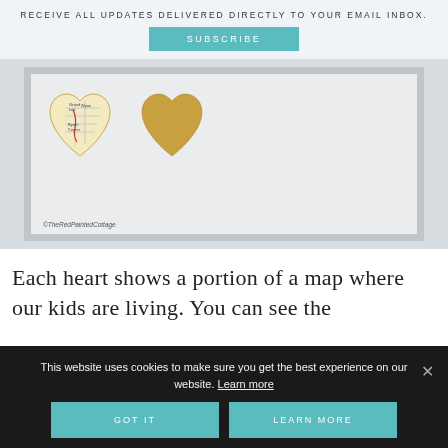RECEIVE ALL UPDATES DELIVERED DIRECTLY TO YOUR EMAIL INBOX.
SUBSCRIBE
[Figure (photo): Photo of two heart-shaped cutouts on white paper inside a white frame. Left heart shows a map portion; right heart is plain golden/tan color. Watermark reads ©TheRedPaintedCottage.]
Each heart shows a portion of a map where our kids are living. You can see the
This website uses cookies to make sure you get the best experience on our website. Learn more
GOT IT
LEARN MORE